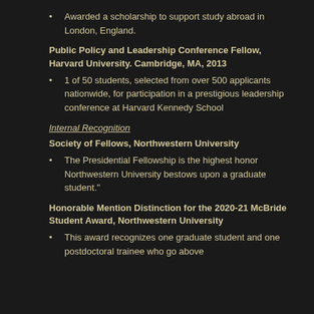Awarded a scholarship to support study abroad in London, England.
Public Policy and Leadership Conference Fellow, Harvard University. Cambridge, MA, 2013
1 of 50 students, selected from over 500 applicants nationwide, for participation in a prestigious leadership conference at Harvard Kennedy School
Internal Recognition
Society of Fellows, Northwestern University
The Presidential Fellowship is the highest honor Northwestern University bestows upon a graduate student."
Honorable Mention Distinction for the 2020-21 McBride Student Award, Northwestern University
This award recognizes one graduate student and one postdoctoral trainee who go above